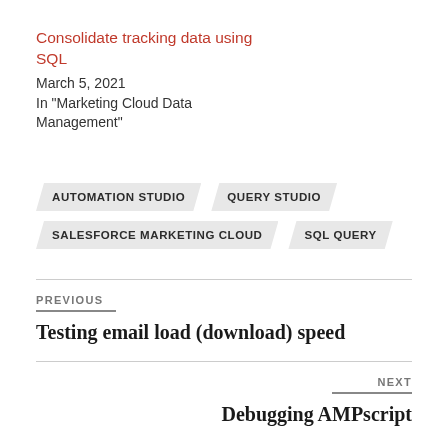Consolidate tracking data using SQL
March 5, 2021
In "Marketing Cloud Data Management"
AUTOMATION STUDIO
QUERY STUDIO
SALESFORCE MARKETING CLOUD
SQL QUERY
PREVIOUS
Testing email load (download) speed
NEXT
Debugging AMPscript